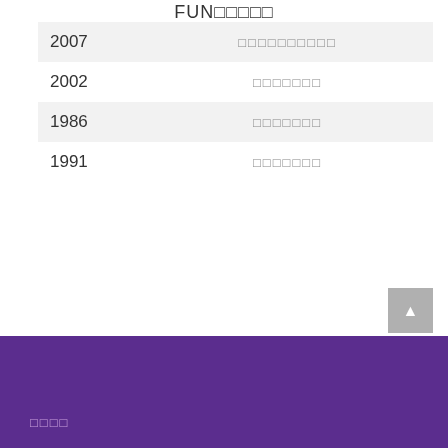FUN□□□□□
| 2007 | □□□□□□□□□□ |
| 2002 | □□□□□□□ |
| 1986 | □□□□□□□ |
| 1991 | □□□□□□□ |
□□□□